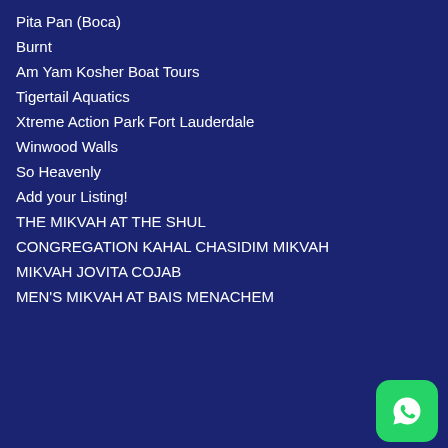Pita Pan (Boca)
Burnt
Am Yam Kosher Boat Tours
Tigertail Aquatics
Xtreme Action Park Fort Lauderdale
Winwood Walls
So Heavenly
Add your Listing!
THE MIKVAH AT THE SHUL
CONGREGATION KAHAL CHASIDIM MIKVAH
MIKVAH JOVITA COJAB
MEN'S MIKVAH AT BAIS MENACHEM
[Figure (logo): WhatsApp green logo button in bottom right corner]